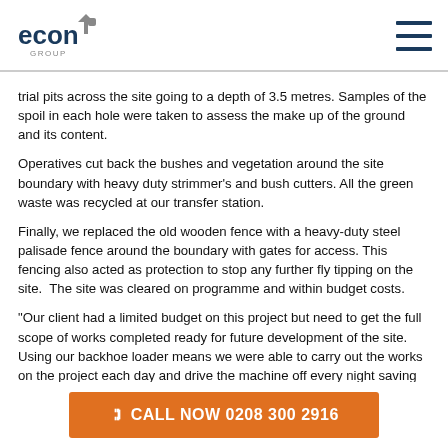econ GROUP
trial pits across the site going to a depth of 3.5 metres. Samples of the spoil in each hole were taken to assess the make up of the ground and its content.
Operatives cut back the bushes and vegetation around the site boundary with heavy duty strimmer's and bush cutters. All the green waste was recycled at our transfer station.
Finally, we replaced the old wooden fence with a heavy-duty steel palisade fence around the boundary with gates for access. This fencing also acted as protection to stop any further fly tipping on the site.  The site was cleared on programme and within budget costs.
"Our client had a limited budget on this project but need to get the full scope of works completed ready for future development of the site. Using our backhoe loader means we were able to carry out the works on the project each day and drive the machine off every night saving on the cost of any
📞 CALL NOW 0208 300 2916